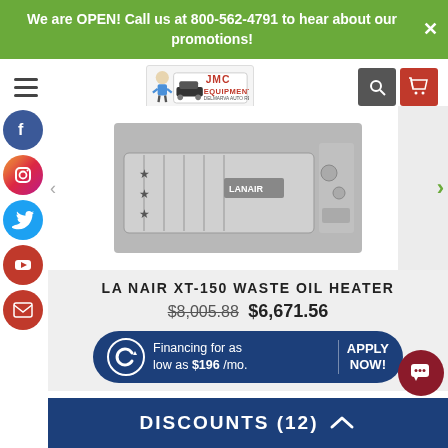We are OPEN! Call us at 800-562-4791 to hear about our promotions!
[Figure (logo): JMC Equipment automotive logo with mechanic character and car]
[Figure (photo): La Nair XT-150 Waste Oil Heater product photo - silver industrial unit]
LA NAIR XT-150 WASTE OIL HEATER
$8,005.88 $6,671.56
Financing for as low as $196 /mo. APPLY NOW!
DISCOUNTS (12)